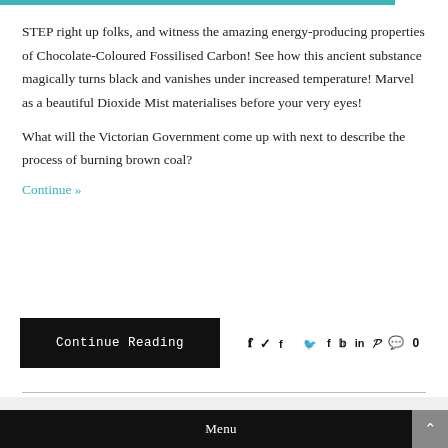STEP right up folks, and witness the amazing energy-producing properties of Chocolate-Coloured Fossilised Carbon! See how this ancient substance magically turns black and vanishes under increased temperature! Marvel as a beautiful Dioxide Mist materialises before your very eyes!

What will the Victorian Government come up with next to describe the process of burning brown coal?
Continue »
Continue Reading
0
Menu